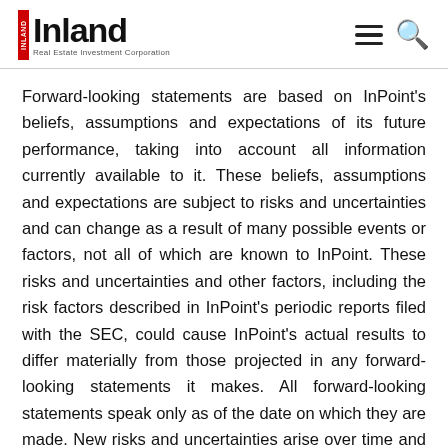Inland Real Estate Investment Corporation
Forward-looking statements are based on InPoint's beliefs, assumptions and expectations of its future performance, taking into account all information currently available to it. These beliefs, assumptions and expectations are subject to risks and uncertainties and can change as a result of many possible events or factors, not all of which are known to InPoint. These risks and uncertainties and other factors, including the risk factors described in InPoint's periodic reports filed with the SEC, could cause InPoint's actual results to differ materially from those projected in any forward-looking statements it makes. All forward-looking statements speak only as of the date on which they are made. New risks and uncertainties arise over time and it is not possible to predict those events or how they may affect InPoint. Except as required by law, InPoint is not obligated to, and does not intend to, update or revise any forward-